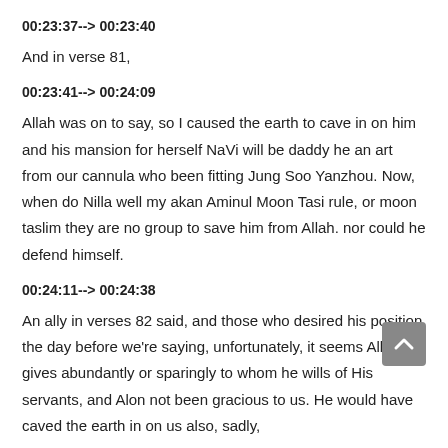00:23:37--> 00:23:40
And in verse 81,
00:23:41--> 00:24:09
Allah was on to say, so I caused the earth to cave in on him and his mansion for herself NaVi will be daddy he an art from our cannula who been fitting Jung Soo Yanzhou. Now, when do Nilla well my akan Aminul Moon Tasi rule, or moon taslim they are no group to save him from Allah. nor could he defend himself.
00:24:11--> 00:24:38
An ally in verses 82 said, and those who desired his position the day before we're saying, unfortunately, it seems Allah gives abundantly or sparingly to whom he wills of His servants, and Alon not been gracious to us. He would have caved the earth in on us also, sadly,